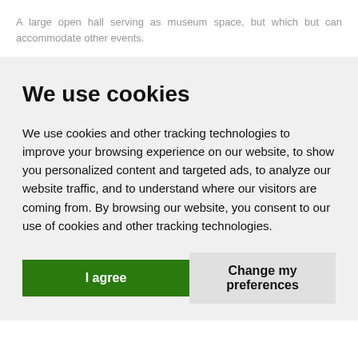A large open hall serving as museum space, but which but can accommodate other events.
We use cookies
We use cookies and other tracking technologies to improve your browsing experience on our website, to show you personalized content and targeted ads, to analyze our website traffic, and to understand where our visitors are coming from. By browsing our website, you consent to our use of cookies and other tracking technologies.
I agree | Change my preferences